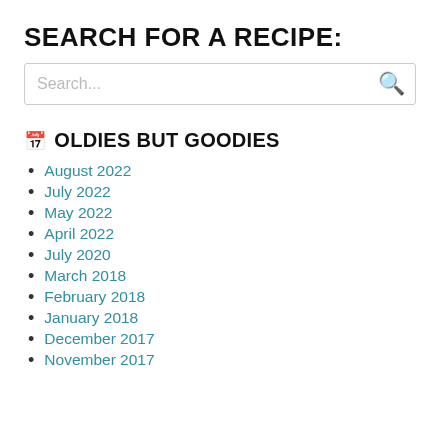SEARCH FOR A RECIPE:
[Figure (other): Search input box with placeholder text 'Search...' and a green magnifying glass icon on the right]
OLDIES BUT GOODIES
August 2022
July 2022
May 2022
April 2022
July 2020
March 2018
February 2018
January 2018
December 2017
November 2017